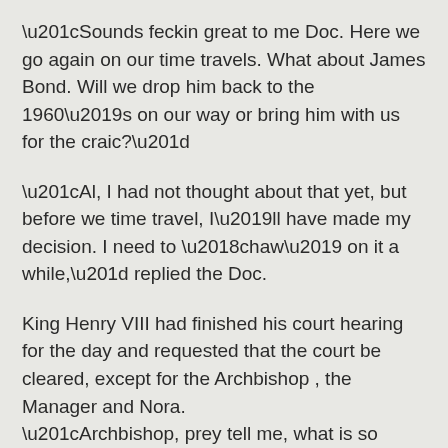“Sounds feckin great to me Doc. Here we go again on our time travels. What about James Bond. Will we drop him back to the 1960’s on our way or bring him with us for the craic?”
“Al, I had not thought about that yet, but before we time travel, I’ll have made my decision. I need to ‘chaw’ on it a while,” replied the Doc.
King Henry VIII had finished his court hearing for the day and requested that the court be cleared, except for the Archbishop , the Manager and Nora. “Archbishop, prey tell me, what is so important that you requested this private court hearing with these two fine ladies?. They look familiar. Have I met them before?” asked Henry VIII.
“Think careful of you answer Archbishop,” the